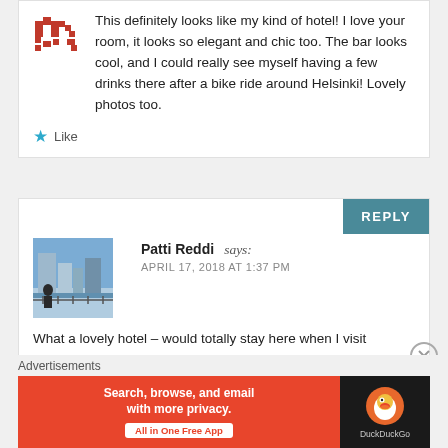This definitely looks like my kind of hotel! I love your room, it looks so elegant and chic too. The bar looks cool, and I could really see myself having a few drinks there after a bike ride around Helsinki! Lovely photos too.
★ Like
REPLY
Patti Reddi says:
APRIL 17, 2018 AT 1:37 PM
What a lovely hotel – would totally stay here when I visit Helsinki! Location is super important to me so I like that it is centrally located and has a lovely design. Plus I am a huge dog lover so I would enjoy seeing the owners' adorable Boston Terrier.
Advertisements
[Figure (infographic): DuckDuckGo advertisement banner: orange left section with text 'Search, browse, and email with more privacy. All in One Free App' and dark right section with DuckDuckGo logo]